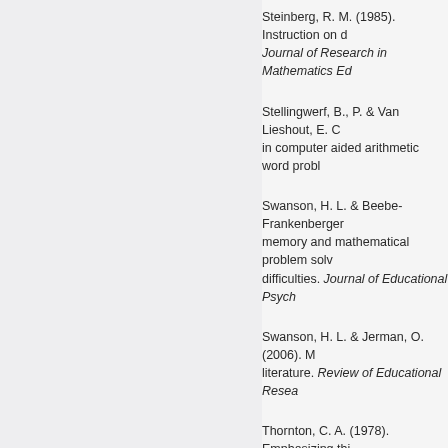Steinberg, R. M. (1985). Instruction on d... Journal of Research in Mathematics Ed...
Stellingwerf, B., P. & Van Lieshout, E. C... in computer aided arithmetic word probl...
Swanson, H. L. & Beebe-Frankenberger... memory and mathematical problem solv... difficulties. Journal of Educational Psych...
Swanson, H. L. & Jerman, O. (2006). M... literature. Review of Educational Resea...
Thornton, C. A. (1978). Emphasizing thi... Reasearch in Mathematics Education, 9...
Thornton, C.A. (1990) Solution strategie... Mathematics, 21, 241-263.